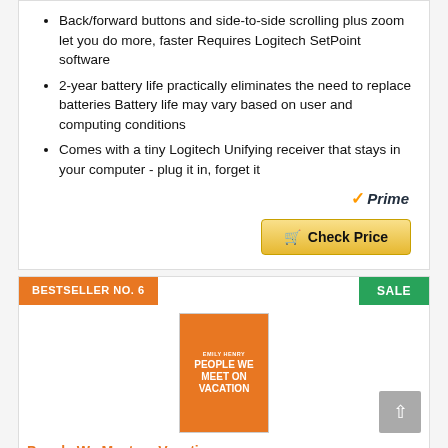Back/forward buttons and side-to-side scrolling plus zoom let you do more, faster Requires Logitech SetPoint software
2-year battery life practically eliminates the need to replace batteries Battery life may vary based on user and computing conditions
Comes with a tiny Logitech Unifying receiver that stays in your computer - plug it in, forget it
[Figure (logo): Amazon Prime logo with orange checkmark and italic Prime text]
[Figure (other): Check Price button with shopping cart icon, gold/yellow gradient background]
BESTSELLER NO. 6
SALE
[Figure (photo): Book cover of People We Meet on Vacation by Emily Henry, orange background with title text]
People We Meet on Vacation